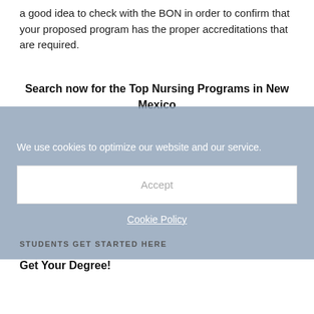a good idea to check with the BON in order to confirm that your proposed program has the proper accreditations that are required.
Search now for the Top Nursing Programs in New Mexico
We use cookies to optimize our website and our service.
Accept
Cookie Policy
STUDENTS GET STARTED HERE
Get Your Degree!